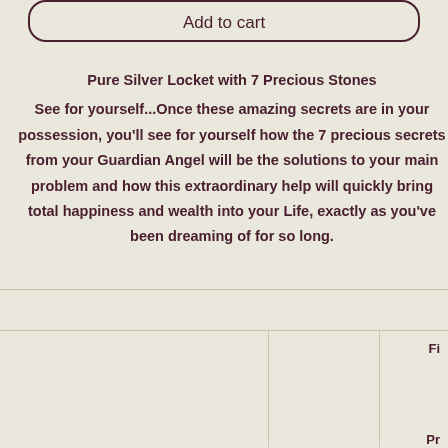Add to cart
Pure Silver Locket with 7 Precious Stones
See for yourself...Once these amazing secrets are in your possession, you'll see for yourself how the 7 precious secrets from your Guardian Angel will be the solutions to your main problem and how this extraordinary help will quickly bring total happiness and wealth into your Life, exactly as you've been dreaming of for so long.
|  |  | Fi |
|  |  | Pr |